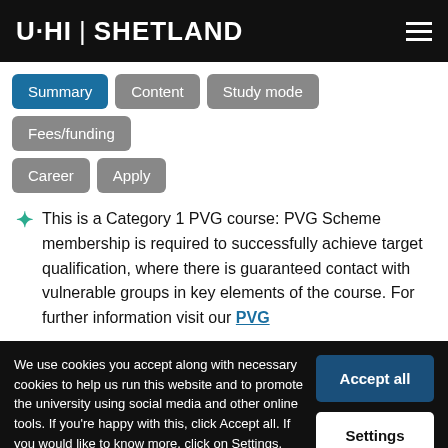UHI SHETLAND
Summary | Content | Study mode | Fees/funding | Career | Apply
This is a Category 1 PVG course: PVG Scheme membership is required to successfully achieve target qualification, where there is guaranteed contact with vulnerable groups in key elements of the course. For further information visit our PVG
We use cookies you accept along with necessary cookies to help us run this website and to promote the university using social media and other online tools. If you're happy with this, click Accept all. If you would like to know more, click on Settings. You are free to amend your settings at any time from our cookies page.